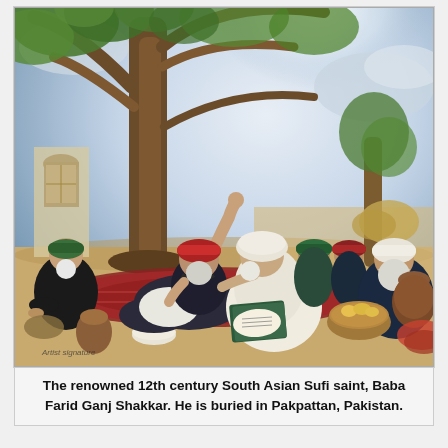[Figure (illustration): A painting depicting the renowned 12th century South Asian Sufi saint Baba Farid Ganj Shakkar. Several bearded men in traditional robes and turbans are seated outdoors under a large tree. The central figure reclines and points upward with one finger. Books, bowls, a basket of food, and a clay pot are visible in the foreground. The background shows a bright sky with clouds and additional trees.]
The renowned 12th century South Asian Sufi saint, Baba Farid Ganj Shakkar. He is buried in Pakpattan, Pakistan.